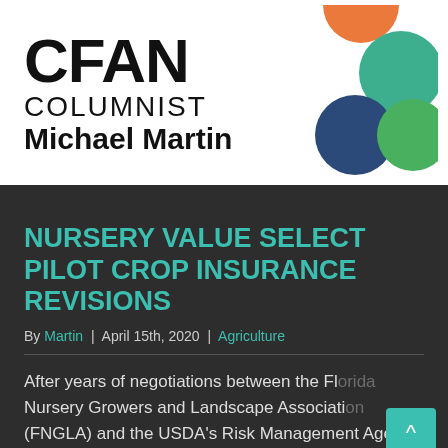[Figure (logo): CFAN Columnist Michael Martin logo banner with decorative circles (orange, green, teal, navy)]
NURSERY VALUE SELECT PILOT CROP INSURANCE REVISIONS
By Martin | April 15th, 2020 | Agriculture
After years of negotiations between the Florida Nursery Growers and Landscape Association (FNGLA) and the USDA's Risk Management Agency,